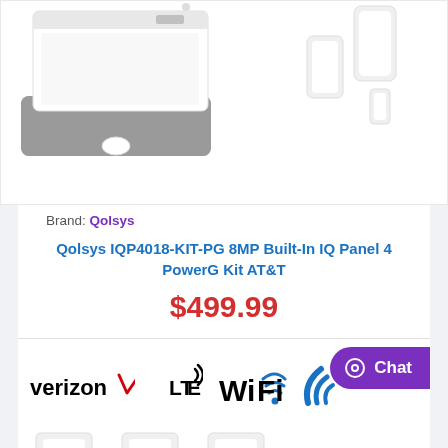[Figure (photo): Security panel device with gray fabric base and white touch screen, alongside white door/window sensors, product photo on white background]
Brand: Qolsys
Qolsys IQP4018-KIT-PG 8MP Built-In IQ Panel 4 PowerG Kit AT&T
$499.99
[Figure (logo): Connectivity logos: Verizon checkmark logo, LTE with signal arcs, WiFi logo, and a curved signal/connectivity icon]
[Figure (photo): Bottom portion of product devices including white sensor components]